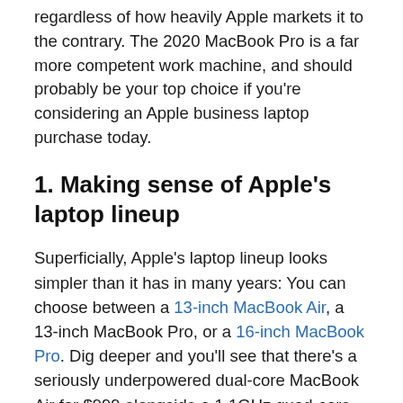regardless of how heavily Apple markets it to the contrary. The 2020 MacBook Pro is a far more competent work machine, and should probably be your top choice if you're considering an Apple business laptop purchase today.
1. Making sense of Apple's laptop lineup
Superficially, Apple's laptop lineup looks simpler than it has in many years: You can choose between a 13-inch MacBook Air, a 13-inch MacBook Pro, or a 16-inch MacBook Pro. Dig deeper and you'll see that there's a seriously underpowered dual-core MacBook Air for $999 alongside a 1.1GHz quad-core model for $1,299, a classic Apple trick to get forward-thinking users to spend more. For the same $1,299 price,